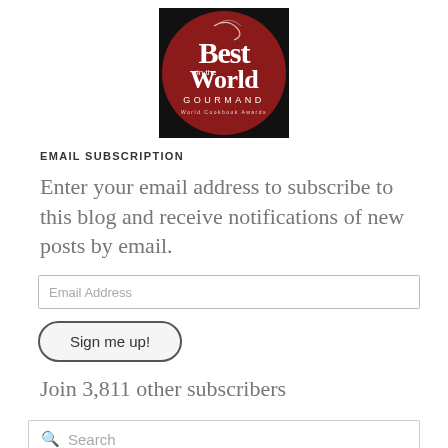[Figure (logo): Gourmand World Cookbook Awards — Best in the World logo: dark red/crimson circle with white text 'Best in the World GOURMAND World Cookbook Awards']
EMAIL SUBSCRIPTION
Enter your email address to subscribe to this blog and receive notifications of new posts by email.
Email Address
Sign me up!
Join 3,811 other subscribers
Search